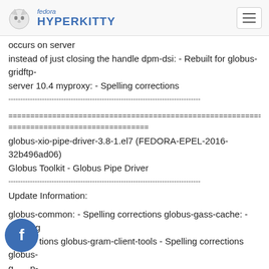fedora HYPERKITTY
occurs on server
instead of just closing the handle dpm-dsi: - Rebuilt for globus-gridftp-
server 10.4 myproxy: - Spelling corrections
--------------------------------------------------------------------------------
================================================================================
================================
globus-xio-pipe-driver-3.8-1.el7 (FEDORA-EPEL-2016-32b496ad06)
Globus Toolkit - Globus Pipe Driver
--------------------------------------------------------------------------------
Update Information:
globus-common: - Spelling corrections globus-gass-cache: - Spelling
corrections globus-gram-client-tools - Spelling corrections globus-gridftp-
server: - Fix broken remote node auth without sharing (10.4) - Fix